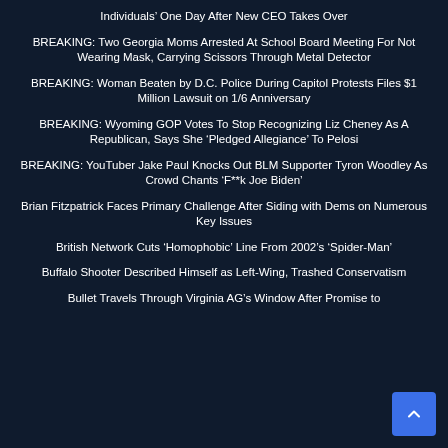Individuals' One Day After New CEO Takes Over
BREAKING: Two Georgia Moms Arrested At School Board Meeting For Not Wearing Mask, Carrying Scissors Through Metal Detector
BREAKING: Woman Beaten by D.C. Police During Capitol Protests Files $1 Million Lawsuit on 1/6 Anniversary
BREAKING: Wyoming GOP Votes To Stop Recognizing Liz Cheney As A Republican, Says She 'Pledged Allegiance' To Pelosi
BREAKING: YouTuber Jake Paul Knocks Out BLM Supporter Tyron Woodley As Crowd Chants 'F**k Joe Biden'
Brian Fitzpatrick Faces Primary Challenge After Siding with Dems on Numerous Key Issues
British Network Cuts 'Homophobic' Line From 2002's 'Spider-Man'
Buffalo Shooter Described Himself as Left-Wing, Trashed Conservatism
Bullet Travels Through Virginia AG's Window After Promise to